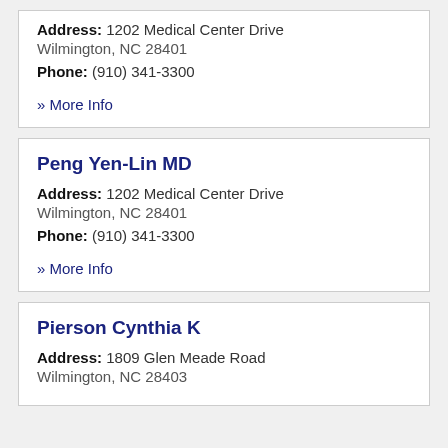Address: 1202 Medical Center Drive Wilmington, NC 28401
Phone: (910) 341-3300
» More Info
Peng Yen-Lin MD
Address: 1202 Medical Center Drive Wilmington, NC 28401
Phone: (910) 341-3300
» More Info
Pierson Cynthia K
Address: 1809 Glen Meade Road Wilmington, NC 28403